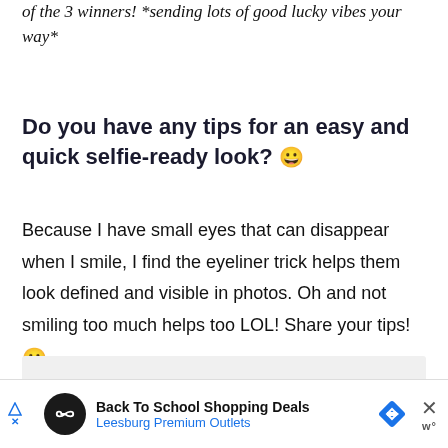of the 3 winners! *sending lots of good lucky vibes your way*
Do you have any tips for an easy and quick selfie-ready look? 😀
Because I have small eyes that can disappear when I smile, I find the eyeliner trick helps them look defined and visible in photos. Oh and not smiling too much helps too LOL! Share your tips! 😀
[Figure (other): Gray placeholder box]
[Figure (other): Advertisement banner: Back To School Shopping Deals, Leesburg Premium Outlets]